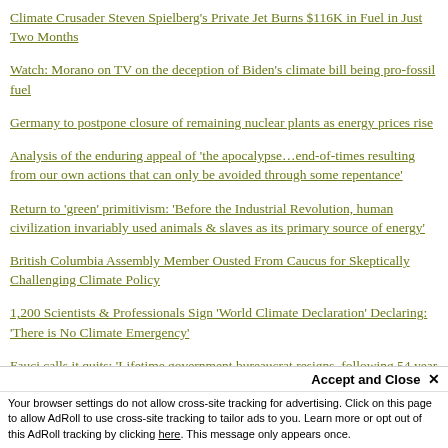Climate Crusader Steven Spielberg's Private Jet Burns $116K in Fuel in Just Two Months
Watch: Morano on TV on the deception of Biden's climate bill being pro-fossil fuel
Germany to postpone closure of remaining nuclear plants as energy prices rise
Analysis of the enduring appeal of 'the apocalypse…end-of-times resulting from our own actions that can only be avoided through some repentance'
Return to 'green' primitivism: 'Before the Industrial Revolution, human civilization invariably used animals & slaves as its primary source of energy'
British Columbia Assembly Member Ousted From Caucus for Skeptically Challenging Climate Policy
1,200 Scientists & Professionals Sign 'World Climate Declaration' Declaring: 'There is No Climate Emergency'
Fauci calls it quits: 'Lifetime government bureaucrat resigns, following 54 year career of corruption, deceit, death & [continues]'
Accept and Close ✕
Your browser settings do not allow cross-site tracking for advertising. Click on this page to allow AdRoll to use cross-site tracking to tailor ads to you. Learn more or opt out of this AdRoll tracking by clicking here. This message only appears once.